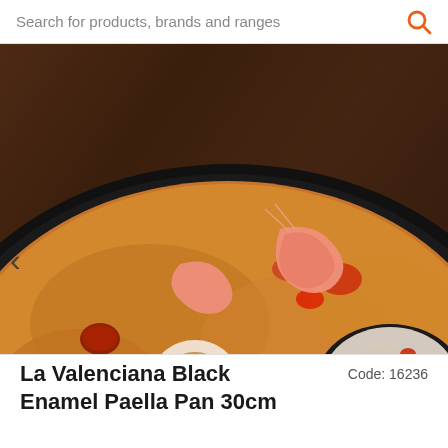Search for products, brands and ranges
[Figure (photo): A large black paella pan filled with seafood paella including shrimp, squid rings, mussels, chorizo, saffron rice, tomatoes, and lemon wedges on a dark wooden table. A smaller bowl with squid and seafood is visible on the right. A small bowl of green olives is at the bottom.]
La Valenciana Black Enamel Paella Pan 30cm
Code: 16236